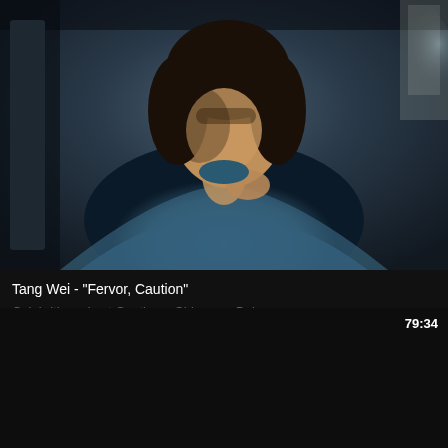[Figure (photo): A woman in a blue turtleneck top with dark hair, touching her collar, in a dimly lit room — screenshot from the film 'Lust, Caution']
Tang Wei - "Fervor, Caution"
Celebrities › Lust Caution › Chinese › Babes ›
[Figure (screenshot): Black/dark video thumbnail for a second video item]
79:34